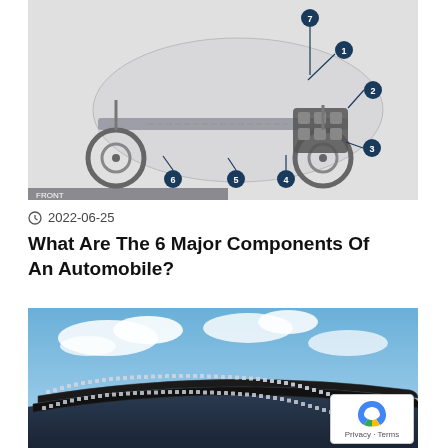[Figure (schematic): Cutaway diagram of an automobile chassis showing numbered components (1-7) with callout lines pointing to engine, suspension, wheels, and drivetrain parts. The car body is rendered semi-transparent in grey/white tones.]
2022-06-25
What Are The 6 Major Components Of An Automobile?
[Figure (photo): Photo of a curved LED light bar mounted on top of a vehicle roof against a blue sky with white clouds background.]